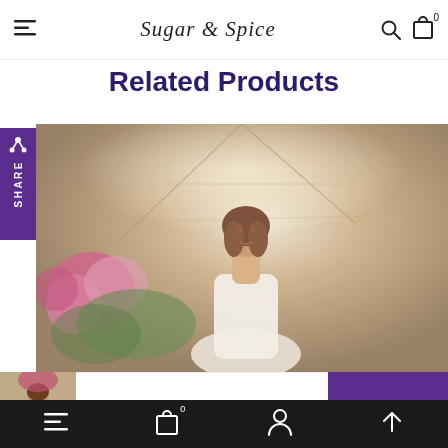Sugar & Spice — navigation header with hamburger menu, logo, search and cart icons
Related Products
[Figure (photo): Fashion photo of a woman in a wedding dress standing in a greenhouse with pink flowers and soft backlit haze]
Vitalina – Custom Wedding Dress
Bottom navigation bar with hamburger, cart (0), account, and scroll-up icons